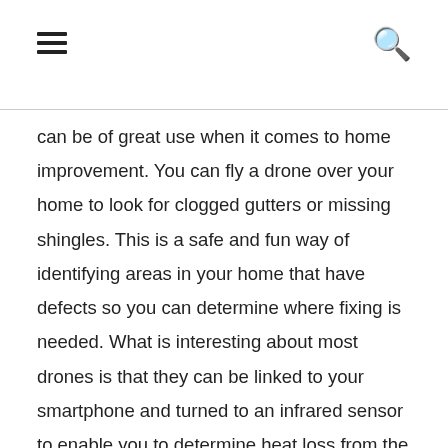can be of great use when it comes to home improvement. You can fly a drone over your home to look for clogged gutters or missing shingles. This is a safe and fun way of identifying areas in your home that have defects so you can determine where fixing is needed. What is interesting about most drones is that they can be linked to your smartphone and turned to an infrared sensor to enable you to determine heat loss from the roof, doors, or windows of your home. That way, you can know the sections of your house that require insulation.